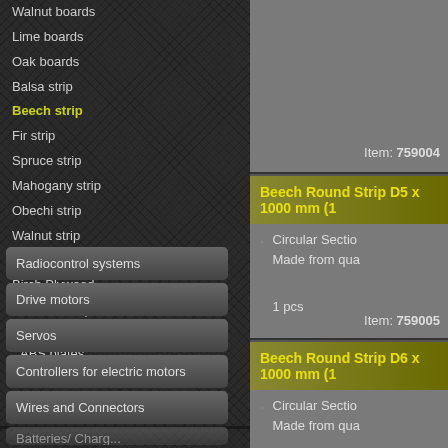Walnut boards
Lime boards
Oak boards
Balsa strip
Beech strip
Fir strip
Spruce strip
Mahogany strip
Obechi strip
Walnut strip
Lime strip
Birch Plywood
Metal sheet (brass, aluminium, copper)
ABS plates
Fine Saw and Blades
Adhesives
Radiocontrol systems
Drive motors
Servos
Controllers for electric motors
Wires and Connectors
Item: 759004
Beech Round Strip D5 x 1000 mm (1
Circular Section
Made from qua
1 pcs
Item: 759005
Beech Round Strip D6 x 1000 mm (1
Circular Section
Made from qua
1 pcs